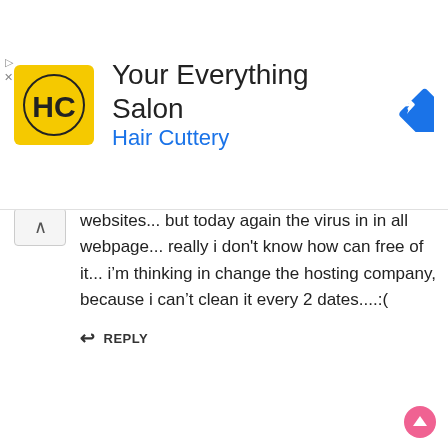[Figure (logo): Hair Cuttery ad banner with HC logo (yellow background), text 'Your Everything Salon' and 'Hair Cuttery' in blue, and a blue navigation/directions diamond icon on the right. Play and close controls on the left edge.]
websites... but today again the virus in in all webpage... really i don't know how can free of it... i'm thinking in change the hosting company, because i can't clean it every 2 dates....:(
↵ REPLY
Jorge
4 January 2010 at 3:33 am
Can you give to us the last version of the script??? in the first post we can get the first